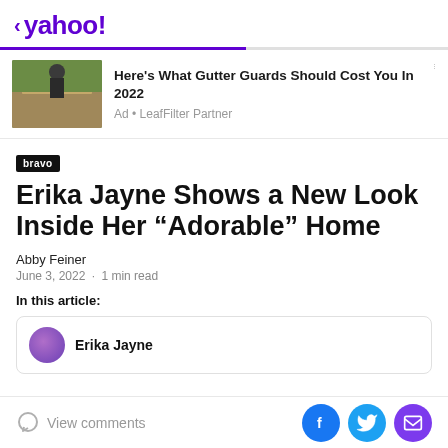< yahoo!
[Figure (screenshot): Yahoo news ad card: image of person on roof, ad title 'Here's What Gutter Guards Should Cost You In 2022', Ad • LeafFilter Partner]
[Figure (logo): bravo TV badge]
Erika Jayne Shows a New Look Inside Her “Adorable” Home
Abby Feiner
June 3, 2022 · 1 min read
In this article:
Erika Jayne
View comments